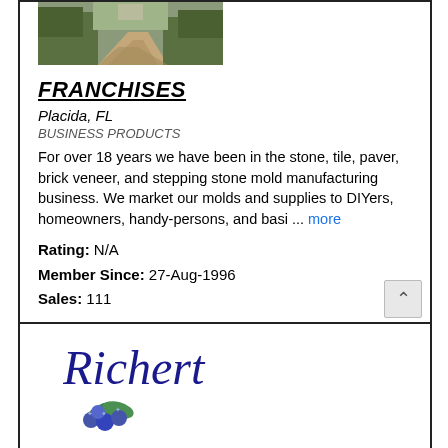[Figure (photo): Outdoor landscape photo showing a dirt path between trees and overgrown vegetation]
FRANCHISES
Placida, FL
BUSINESS PRODUCTS
For over 18 years we have been in the stone, tile, paver, brick veneer, and stepping stone mold manufacturing business. We market our molds and supplies to DIYers, homeowners, handy-persons, and basi ... more
Rating: N/A
Member Since: 27-Aug-1996
Sales: 111
[Figure (logo): Richert cursive logo with blueberry illustration below]